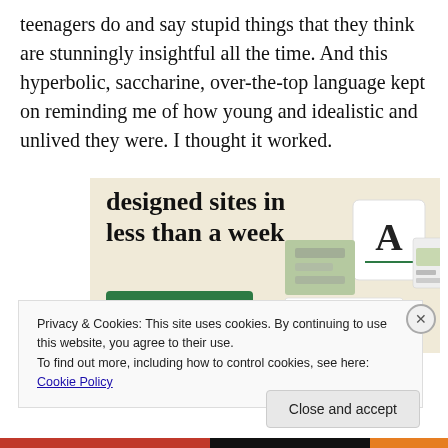teenagers do and say stupid things that they think are stunningly insightful all the time. And this hyperbolic, saccharine, over-the-top language kept on reminding me of how young and idealistic and unlived they were. I thought it worked.
[Figure (screenshot): Advertisement banner with beige background showing text 'designed sites in less than a week' with a green 'Explore options' button and website mockup images on the right.]
Privacy & Cookies: This site uses cookies. By continuing to use this website, you agree to their use.
To find out more, including how to control cookies, see here: Cookie Policy
Close and accept